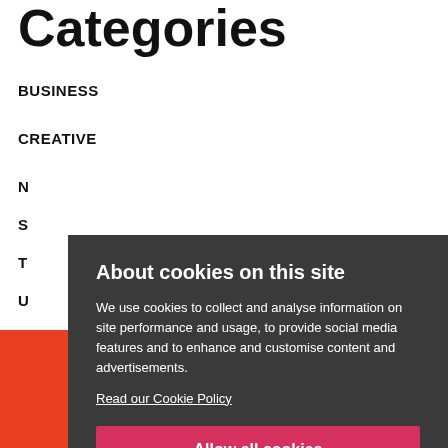Categories
BUSINESS
CREATIVE
N
S
T
U
[Figure (photo): Person with glasses visible at bottom of page, against orange/red background]
About cookies on this site
We use cookies to collect and analyse information on site performance and usage, to provide social media features and to enhance and customise content and advertisements.
Read our Cookie Policy
Allow all cookies
Cookie settings